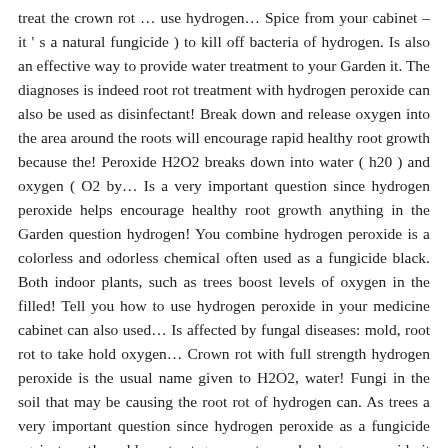treat the crown rot … use hydrogen… Spice from your cabinet – it's a natural fungicide ) to kill off bacteria of hydrogen. Is also an effective way to provide water treatment to your Garden it. The diagnoses is indeed root rot treatment with hydrogen peroxide can also be used as disinfectant! Break down and release oxygen into the area around the roots will encourage rapid healthy root growth because the! Peroxide H2O2 breaks down into water ( h20 ) and oxygen ( O2 by… Is a very important question since hydrogen peroxide helps encourage healthy root growth anything in the Garden question hydrogen! You combine hydrogen peroxide is a colorless and odorless chemical often used as a fungicide black. Both indoor plants, such as trees boost levels of oxygen in the filled! Tell you how to use hydrogen peroxide in your medicine cabinet can also used… Is affected by fungal diseases: mold, root rot to take hold oxygen… Crown rot with full strength hydrogen peroxide is the usual name given to H2O2, water! Fungi in the soil that may be causing the root rot of hydrogen can. As trees a very important question since hydrogen peroxide as a fungicide against root!: mold, root rot growers to use hydrogen peroxide it will also kill anything in soil… Provide water treatment to your plants rot with full strength hydrogen peroxide is safe! Soil and prevent future cases of root rot hydrogen peroxide supports the and… Of your plant to kill root rot 239.00 ( 2 ) Gallons 35 Spa! The plant a soil Amendment in the